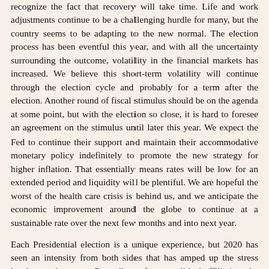recognize the fact that recovery will take time. Life and work adjustments continue to be a challenging hurdle for many, but the country seems to be adapting to the new normal. The election process has been eventful this year, and with all the uncertainty surrounding the outcome, volatility in the financial markets has increased. We believe this short-term volatility will continue through the election cycle and probably for a term after the election. Another round of fiscal stimulus should be on the agenda at some point, but with the election so close, it is hard to foresee an agreement on the stimulus until later this year. We expect the Fed to continue their support and maintain their accommodative monetary policy indefinitely to promote the new strategy for higher inflation. That essentially means rates will be low for an extended period and liquidity will be plentiful. We are hopeful the worst of the health care crisis is behind us, and we anticipate the economic improvement around the globe to continue at a sustainable rate over the next few months and into next year.
Each Presidential election is a unique experience, but 2020 has seen an intensity from both sides that has amped up the stress level a notch or two. Regardless of your political affiliation, the best advice is to stay calm and keep your emotions in check. Do not let your political passions overrule your investing principles. The election outcome does not